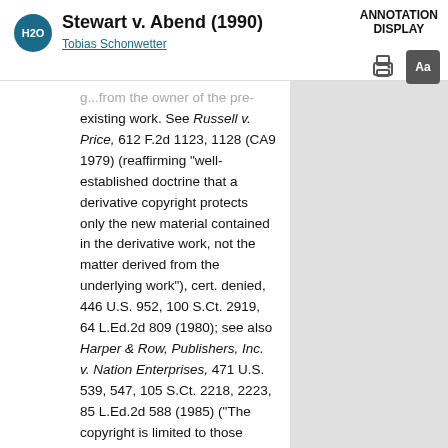Stewart v. Abend (1990) — Tobias Schonwetter — ANNOTATION DISPLAY
g...from the owner of the pre-existing work. See Russell v. Price, 612 F.2d 1123, 1128 (CA9 1979) (reaffirming "well-established doctrine that a derivative copyright protects only the new material contained in the derivative work, not the matter derived from the underlying work"), cert. denied, 446 U.S. 952, 100 S.Ct. 2919, 64 L.Ed.2d 809 (1980); see also Harper & Row, Publishers, Inc. v. Nation Enterprises, 471 U.S. 539, 547, 105 S.Ct. 2218, 2223, 85 L.Ed.2d 588 (1985) ("The copyright is limited to those aspects of the work termed 'expression'—that display the